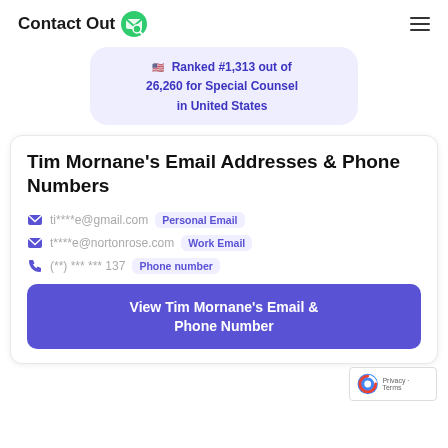ContactOut
Ranked #1,313 out of 26,260 for Special Counsel in United States
Tim Mornane's Email Addresses & Phone Numbers
ti****e@gmail.com  Personal Email
t****e@nortonrose.com  Work Email
(**) *** *** 137  Phone number
View Tim Mornane's Email & Phone Number